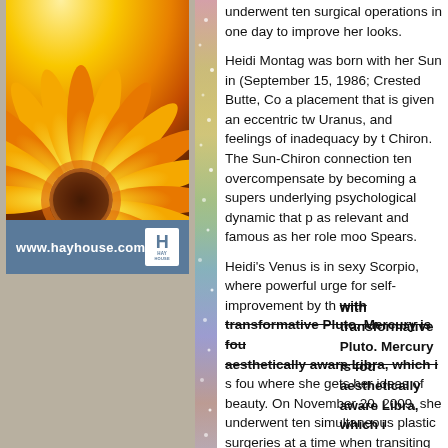[Figure (illustration): Yellow sunflower close-up advertisement image for www.hayhouse.com with Hay House logo on a blue-gray bar]
underwent ten surgical operations in one day to improve her looks.

Heidi Montag was born with her Sun in (September 15, 1986; Crested Butte, Co a placement that is given an eccentric tw Uranus, and feelings of inadequacy by t Chiron. The Sun-Chiron connection ten overcompensate by becoming a supers underlying psychological dynamic that p as relevant and famous as her role moo Spears.

Heidi's Venus is in sexy Scorpio, where powerful urge for self-improvement by th with transformative Pluto. Mercury is fou aesthetically aware Libra, which is where she gets her ideas of beauty. On November 20, 2009, she underwent ten simultaneous plastic surgeries at a time when transiting Saturn and Pluto were squaring each other while aligned with her Mercury. Her Hollywood-inspired concept of beauty led to this radical restructuring.

Her entire being was undergoing change as well, celestially signified